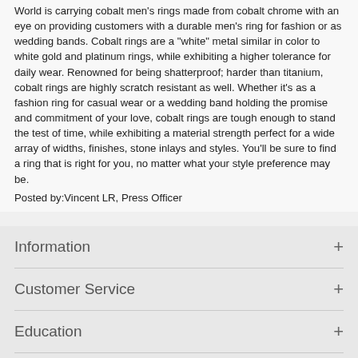World is carrying cobalt men's rings made from cobalt chrome with an eye on providing customers with a durable men's ring for fashion or as wedding bands. Cobalt rings are a "white" metal similar in color to white gold and platinum rings, while exhibiting a higher tolerance for daily wear. Renowned for being shatterproof; harder than titanium, cobalt rings are highly scratch resistant as well. Whether it's as a fashion ring for casual wear or a wedding band holding the promise and commitment of your love, cobalt rings are tough enough to stand the test of time, while exhibiting a material strength perfect for a wide array of widths, finishes, stone inlays and styles. You'll be sure to find a ring that is right for you, no matter what your style preference may be.
Posted by:Vincent LR, Press Officer
Information +
Customer Service +
Education +
My Account +
Popular Categories +
Newsletter Signup +